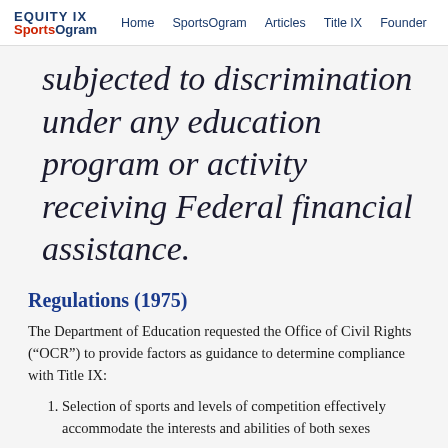EQUITY IX SportsOgram | Home | SportsOgram | Articles | Title IX | Founder
subjected to discrimination under any education program or activity receiving Federal financial assistance.
Regulations (1975)
The Department of Education requested the Office of Civil Rights (“OCR”) to provide factors as guidance to determine compliance with Title IX:
Selection of sports and levels of competition effectively accommodate the interests and abilities of both sexes
Provision of equipment and supplies